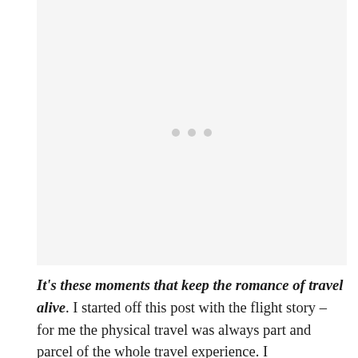[Figure (photo): A light grey placeholder image area with three small grey dots centered near the top third of the image, indicating a loading or placeholder state.]
It's these moments that keep the romance of travel alive. I started off this post with the flight story – for me the physical travel was always part and parcel of the whole travel experience. I